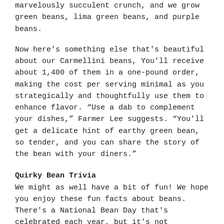marvelously succulent crunch, and we grow green beans, lima green beans, and purple beans.
Now here's something else that's beautiful about our Carmellini beans, You'll receive about 1,400 of them in a one-pound order, making the cost per serving minimal as you strategically and thoughtfully use them to enhance flavor. “Use a dab to complement your dishes,” Farmer Lee suggests. “You'll get a delicate hint of earthy green bean, so tender, and you can share the story of the bean with your diners.”
Quirky Bean Trivia
We might as well have a bit of fun! We hope you enjoy these fun facts about beans.
There's a National Bean Day that's celebrated each year, but it's not scheduled when you might think. It's on January 6, rather than a day when fresh beans are harvested from fields. January 6 was chosen to honor Gregor Mendel (he died on that date in 1884). He was a scientist who used bean plants and pea plants to study plant genetics and his work revolutionized the field.